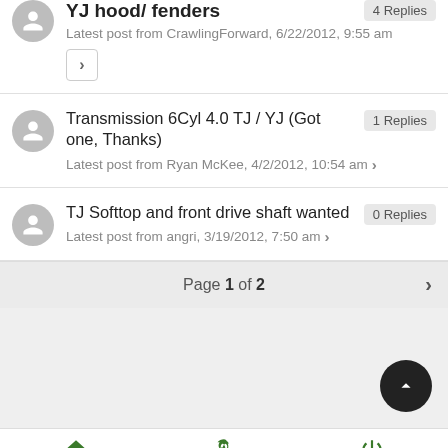YJ hood/ fenders — 4 Replies
Latest post from CrawlingForward, 6/22/2012, 9:55 am
Transmission 6Cyl 4.0 TJ / YJ (Got one, Thanks) — 1 Replies
Latest post from Ryan McKee, 4/2/2012, 10:54 am
TJ Softtop and front drive shaft wanted — 0 Replies
Latest post from angri, 3/19/2012, 7:50 am
Page 1 of 2
Home  Last  Log in